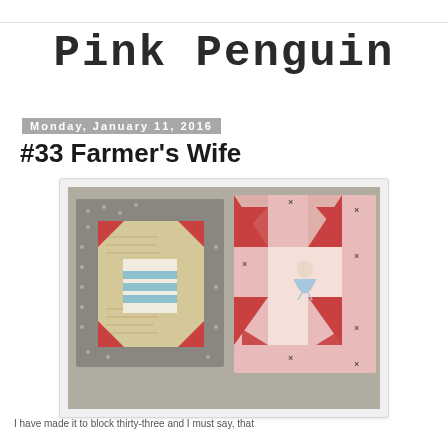Pink Penguin
Monday, January 11, 2016
#33 Farmer's Wife
[Figure (photo): Two handmade quilt blocks side by side. Left block has a grey polka-dot border with a center showing blue striped and red triangle star pattern on a tan/script fabric. Right block is pink fabric with red pinwheel/star points and a center square featuring an embroidered figure (girl in blue dress).]